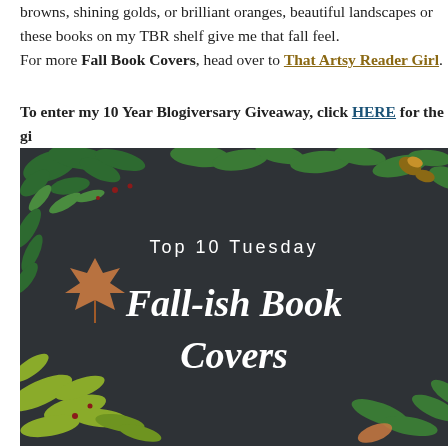browns, shining golds, or brilliant oranges, beautiful landscapes or these books on my TBR shelf give me that fall feel.
For more Fall Book Covers, head over to That Artsy Reader Girl.
To enter my 10 Year Blogiversary Giveaway, click HERE for the gi
[Figure (illustration): Banner image with dark background and fall foliage (evergreen branches, autumn leaves) arranged around text reading 'Top 10 Tuesday' in white sans-serif and 'Fall-ish Book Covers' in white italic script.]